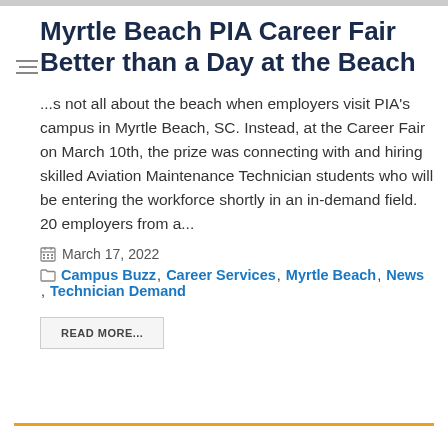Myrtle Beach PIA Career Fair Better than a Day at the Beach
...s not all about the beach when employers visit PIA's campus in Myrtle Beach, SC. Instead, at the Career Fair on March 10th, the prize was connecting with and hiring skilled Aviation Maintenance Technician students who will be entering the workforce shortly in an in-demand field. 20 employers from a...
March 17, 2022
Campus Buzz, Career Services, Myrtle Beach, News, Technician Demand
READ MORE...